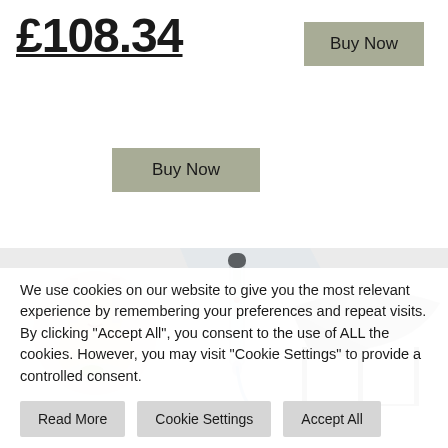£108.34
Buy Now
Buy Now
[Figure (photo): Product images: a baby in a high chair, a digital food thermometer, and a large outdoor gazebo/canopy]
We use cookies on our website to give you the most relevant experience by remembering your preferences and repeat visits. By clicking "Accept All", you consent to the use of ALL the cookies. However, you may visit "Cookie Settings" to provide a controlled consent.
Read More
Cookie Settings
Accept All